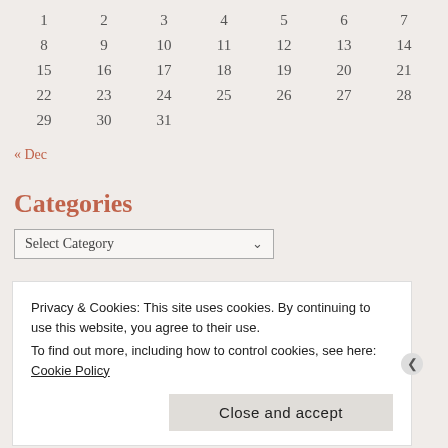|  |  |  |  |  |  |  |
| --- | --- | --- | --- | --- | --- | --- |
| 1 | 2 | 3 | 4 | 5 | 6 | 7 |
| 8 | 9 | 10 | 11 | 12 | 13 | 14 |
| 15 | 16 | 17 | 18 | 19 | 20 | 21 |
| 22 | 23 | 24 | 25 | 26 | 27 | 28 |
| 29 | 30 | 31 |  |  |  |  |
« Dec
Categories
Select Category
Privacy & Cookies: This site uses cookies. By continuing to use this website, you agree to their use.
To find out more, including how to control cookies, see here: Cookie Policy
Close and accept